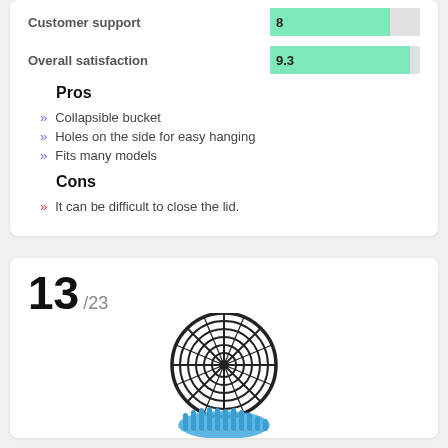Customer support
8
Overall satisfaction
9.3
Pros
Collapsible bucket
Holes on the side for easy hanging
Fits many models
Cons
It can be difficult to close the lid.
13 /23
[Figure (photo): A circular fan guard/grill with a blue microfiber mop head attachment, partially visible at the bottom of the page.]